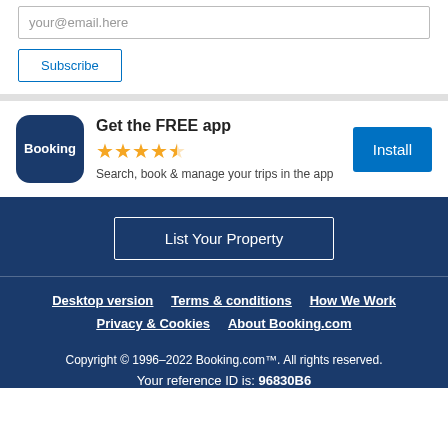your@email.here
Subscribe
[Figure (logo): Booking.com app icon — dark blue rounded square with white text 'Booking']
Get the FREE app
★★★★½ (4.5 stars)
Search, book & manage your trips in the app
Install
List Your Property
Desktop version
Terms & conditions
How We Work
Privacy & Cookies
About Booking.com
Copyright © 1996–2022 Booking.com™. All rights reserved.
Your reference ID is: 96830B6